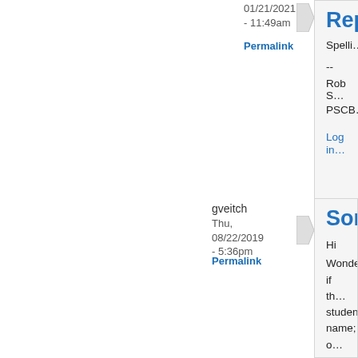01/21/2021 - 11:49am
Permalink
Repl...
Spelli...
--
Rob S
PSCB
Log in
gveitch
Thu, 08/22/2019 - 5:36pm
Permalink
Sorting
Hi
Wondering if th... student name; o... related to one st... Absolutely love...
Log in or registe...